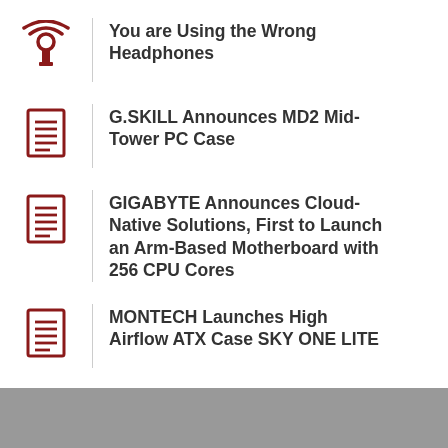You are Using the Wrong Headphones
G.SKILL Announces MD2 Mid-Tower PC Case
GIGABYTE Announces Cloud-Native Solutions, First to Launch an Arm-Based Motherboard with 256 CPU Cores
MONTECH Launches High Airflow ATX Case SKY ONE LITE